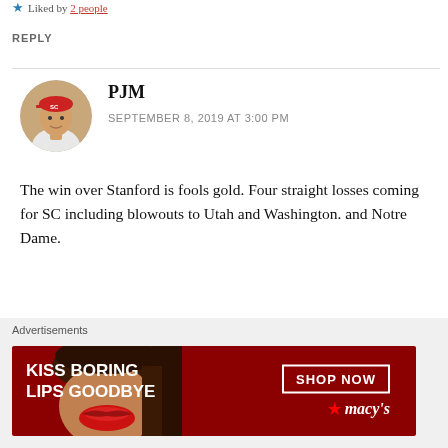Liked by 2 people
REPLY
[Figure (photo): Circular avatar photo of commenter PJM]
PJM
SEPTEMBER 8, 2019 AT 3:00 PM
The win over Stanford is fools gold. Four straight losses coming for SC including blowouts to Utah and Washington. and Notre Dame.
Liked by 1 person
[Figure (infographic): Advertisement banner: KISS BORING LIPS GOODBYE — SHOP NOW — macy's]
Advertisements